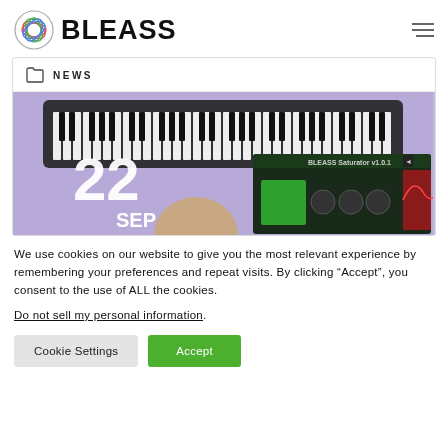BLEASS
NEWS
[Figure (photo): Article thumbnail showing a MIDI keyboard on purple background with a person and a BLEASS Saturator plugin interface. Date shown: 22 SEP 2021.]
We use cookies on our website to give you the most relevant experience by remembering your preferences and repeat visits. By clicking “Accept”, you consent to the use of ALL the cookies.
Do not sell my personal information.
Cookie Settings   Accept